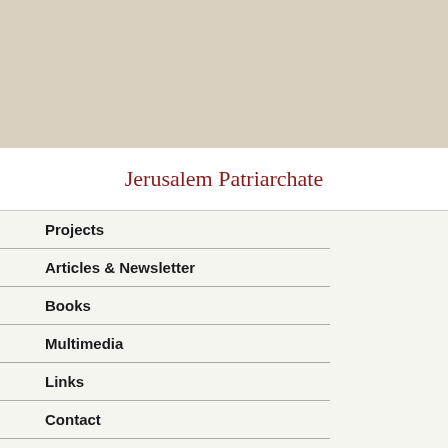[Figure (other): Beige/tan decorative banner at the top of the page]
Jerusalem Patriarchate
Projects
Articles & Newsletter
Books
Multimedia
Links
Contact
"Romiosini" News Release
23/03/2012 Relocation announcement of the headquarters of the N.G.O. "Romiosini" and the